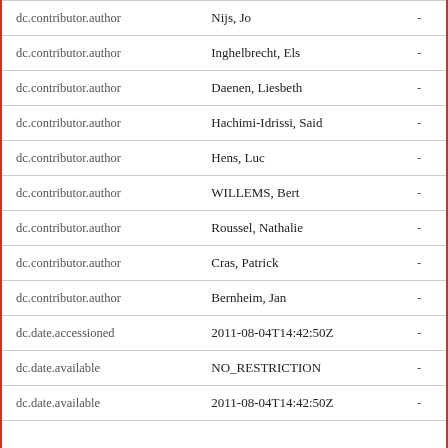| Field | Value |  |
| --- | --- | --- |
| dc.contributor.author | Nijs, Jo | - |
| dc.contributor.author | Inghelbrecht, Els | - |
| dc.contributor.author | Daenen, Liesbeth | - |
| dc.contributor.author | Hachimi-Idrissi, Said | - |
| dc.contributor.author | Hens, Luc | - |
| dc.contributor.author | WILLEMS, Bert | - |
| dc.contributor.author | Roussel, Nathalie | - |
| dc.contributor.author | Cras, Patrick | - |
| dc.contributor.author | Bernheim, Jan | - |
| dc.date.accessioned | 2011-08-04T14:42:50Z | - |
| dc.date.available | NO_RESTRICTION | - |
| dc.date.available | 2011-08-04T14:42:50Z | - |